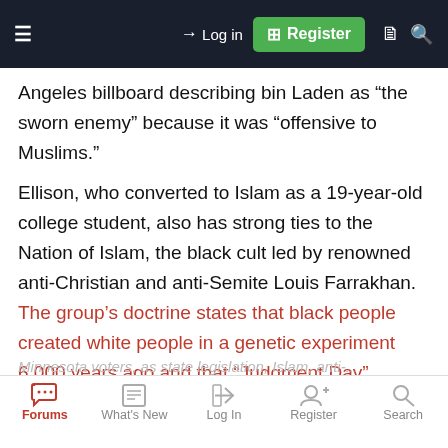Log in  Register
Angeles billboard describing bin Laden as “the sworn enemy” because it was “offensive to Muslims.”
Ellison, who converted to Islam as a 19-year-old college student, also has strong ties to the Nation of Islam, the black cult led by renowned anti-Christian and anti-Semite Louis Farrakhan. The group’s doctrine states that black people created white people in a genetic experiment 6,000 years ago and that “Judgment Day” means that the Gods will destroy the entire white race (devils) and establish a paradise nation ruled forever by blacks
Forums  What's New  Log In  Register  Search
Minnesota voters, as state legislation, Islam, anti-...